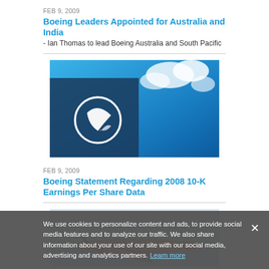FEB 9, 2009
Boeing Leaders Appointed for Australia and India
- Ian Thomas to lead Boeing Australia and South Pacific
[Figure (photo): Boeing logo on building against blue sky with clouds]
FEB 9, 2009
Boeing Statement Regarding 2008 10-K Earnings Per Share Data
[Figure (photo): Aircraft in foggy/misty conditions, partially visible]
FEB 9, 2009
First Australian Boeing 777 Goes to V Australia
Lessor ILFC receives its 78th Boeing 777
We use cookies to personalize content and ads, to provide social media features and to analyze our traffic. We also share information about your use of our site with our social media, advertising and analytics partners. Learn more